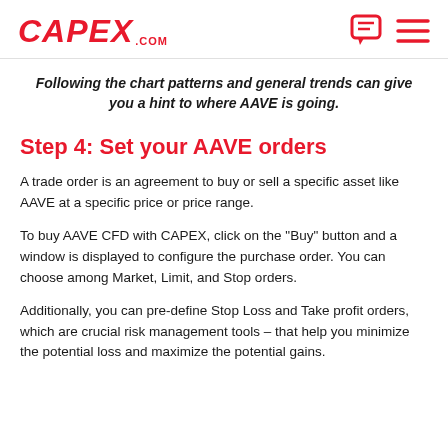CAPEX .COM
Following the chart patterns and general trends can give you a hint to where AAVE is going.
Step 4: Set your AAVE orders
A trade order is an agreement to buy or sell a specific asset like AAVE at a specific price or price range.
To buy AAVE CFD with CAPEX, click on the "Buy" button and a window is displayed to configure the purchase order. You can choose among Market, Limit, and Stop orders.
Additionally, you can pre-define Stop Loss and Take profit orders, which are crucial risk management tools – that help you minimize the potential loss and maximize the potential gains.